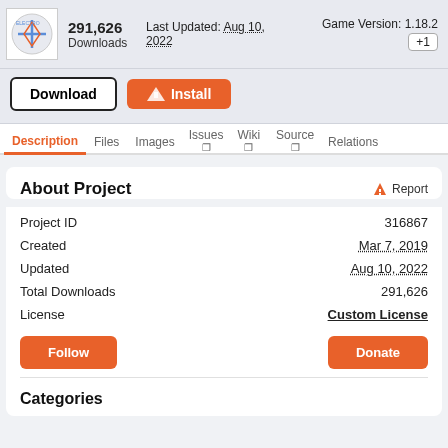291,626 Downloads | Last Updated: Aug 10, 2022 | Game Version: 1.18.2 +1
Download | Install
Description | Files | Images | Issues | Wiki | Source | Relations
About Project
| Field | Value |
| --- | --- |
| Project ID | 316867 |
| Created | Mar 7, 2019 |
| Updated | Aug 10, 2022 |
| Total Downloads | 291,626 |
| License | Custom License |
Follow | Donate
Categories